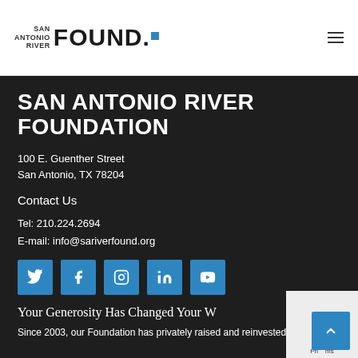SAN ANTONIO RIVER FOUND.
SAN ANTONIO RIVER FOUNDATION
100 E. Guenther Street
San Antonio, TX 78204
Contact Us
Tel: 210.224.2694
E-mail: info@sariverfound.org
[Figure (infographic): Row of 5 social media icon buttons (Twitter, Facebook, Instagram, LinkedIn, YouTube) in blue square buttons]
Your Generosity Has Changed Your W...
Since 2003, our Foundation has privately raised and reinvested